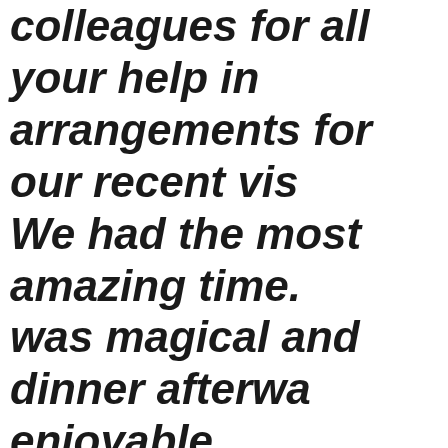colleagues for all your help in arrangements for our recent vis. We had the most amazing time. was magical and dinner afterwa enjoyable. All the plans you made, and the opportunity to pre-book our ent reservation our dinner and tran. made the trip so much easier. We were made to feel very welc